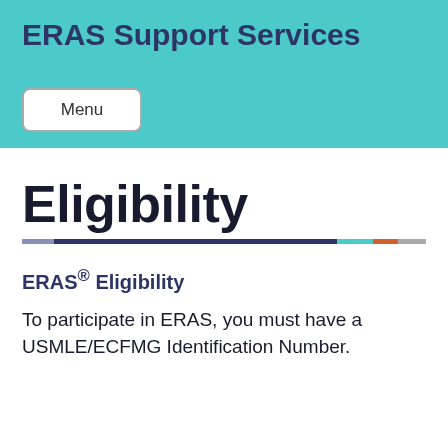ERAS Support Services
Menu
Eligibility
ERAS® Eligibility
To participate in ERAS, you must have a USMLE/ECFMG Identification Number.